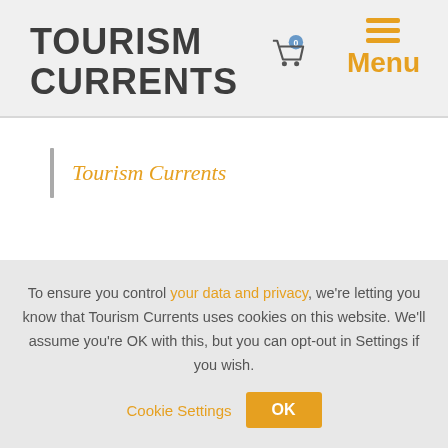TOURISM CURRENTS
Tourism Currents
To ensure you control your data and privacy, we're letting you know that Tourism Currents uses cookies on this website. We'll assume you're OK with this, but you can opt-out in Settings if you wish. Cookie Settings  OK